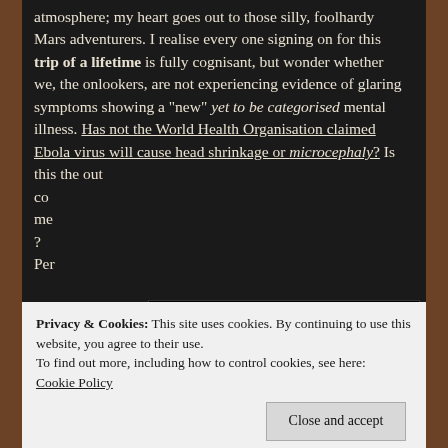atmosphere; my heart goes out to those silly, foolhardy Mars adventurers. I realise every one signing on for this trip of a lifetime is fully cognisant, but wonder whether we, the onlookers, are not experiencing evidence of glaring symptoms showing a "new" yet to be categorised mental illness. Has not the World Health Organisation claimed Ebola virus will cause head shrinkage or microcephaly? Is this the outcome? Per...
[Figure (illustration): Illustration showing three labeled items: The Hammer (with a red and grey hammer image), The Nail (with a nail/coin image), and The Coffin — styled in a comic/bold font on a light cream background with black border.]
Privacy & Cookies: This site uses cookies. By continuing to use this website, you agree to their use.
To find out more, including how to control cookies, see here: Cookie Policy
tra